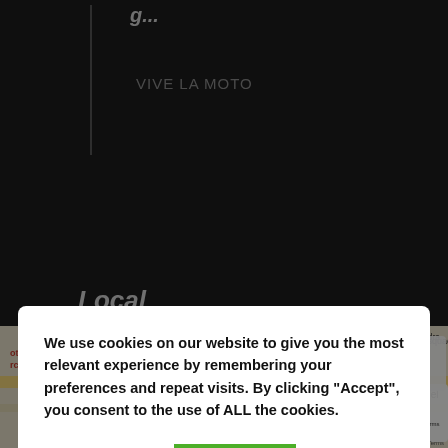VIVE LA MOTO
Local
We use cookies on our website to give you the most relevant experience by remembering your preferences and repeat visits. By clicking "Accept", you consent to the use of ALL the cookies.
Cookie settings
ACCEPT
Website:
Ver La Web Local
[Figure (screenshot): Google Maps screenshot showing Plaça d'Espanya area in Barcelona with streets including Av. del Paral·lel, N-340 road, Hotel Catalonia Barcelona Plaza, and Mossos d'Esquadra marker. A 'TO TOP' button overlay is visible in the bottom right.]